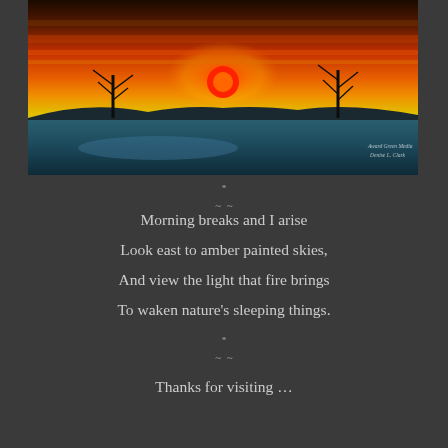[Figure (photo): Dramatic winter sunrise photograph showing a bright orange and red sun setting/rising over a snow-covered landscape with silhouetted bare trees against vivid amber, orange, and yellow streaked sky. Blue tones in the snow foreground. Watermark text in bottom right corner reads 'Award Grenn Media / Denise L. Clark']
* ~  ~
Morning breaks and I arise
Look east to amber painted skies,
And view the light that fire brings
To waken nature's sleeping things.
* ~  ~
Thanks for visiting …